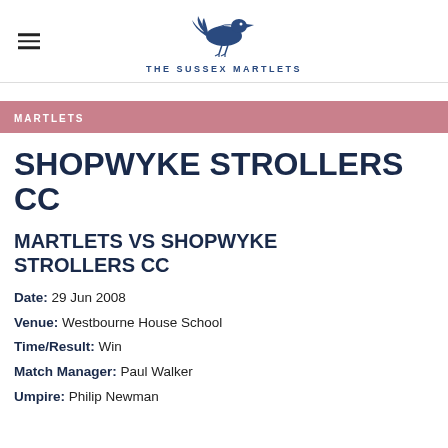THE SUSSEX MARTLETS
MARTLETS
SHOPWYKE STROLLERS CC
MARTLETS VS SHOPWYKE STROLLERS CC
Date: 29 Jun 2008
Venue: Westbourne House School
Time/Result: Win
Match Manager: Paul Walker
Umpire: Philip Newman